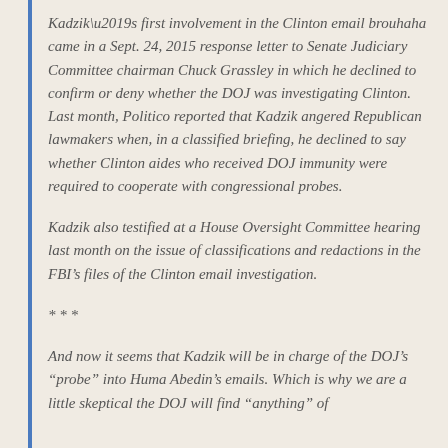Kadzik’s first involvement in the Clinton email brouhaha came in a Sept. 24, 2015 response letter to Senate Judiciary Committee chairman Chuck Grassley in which he declined to confirm or deny whether the DOJ was investigating Clinton. Last month, Politico reported that Kadzik angered Republican lawmakers when, in a classified briefing, he declined to say whether Clinton aides who received DOJ immunity were required to cooperate with congressional probes.
Kadzik also testified at a House Oversight Committee hearing last month on the issue of classifications and redactions in the FBI’s files of the Clinton email investigation.
* * *
And now it seems that Kadzik will be in charge of the DOJ’s “probe” into Huma Abedin’s emails. Which is why we are a little skeptical the DOJ will find “anything” of